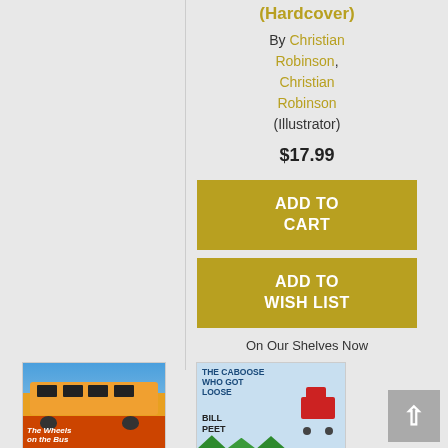(Hardcover)
By Christian Robinson, Christian Robinson (Illustrator)
$17.99
ADD TO CART
ADD TO WISH LIST
On Our Shelves Now
[Figure (photo): Book cover of 'The Wheels on the Bus' showing a colorful illustrated bus scene]
[Figure (photo): Book cover of 'The Caboose Who Got Loose' by Bill Peet showing a red caboose character on a blue background]